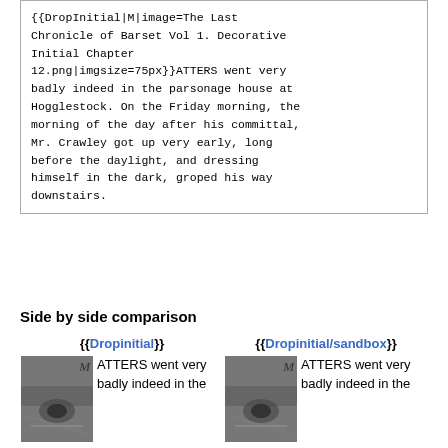{{DropInitial|M|image=The Last Chronicle of Barset Vol 1. Decorative Initial Chapter 12.png|imgsize=75px}}ATTERS went very badly indeed in the parsonage house at Hogglestock. On the Friday morning, the morning of the day after his committal, Mr. Crawley got up very early, long before the daylight, and dressing himself in the dark, groped his way downstairs.
Side by side comparison
| {{Dropinitial}} | {{Dropinitial/sandbox}} |
| --- | --- |
| [image] M ATTERS went very badly indeed in the | [image] M ATTERS went very badly indeed in the |